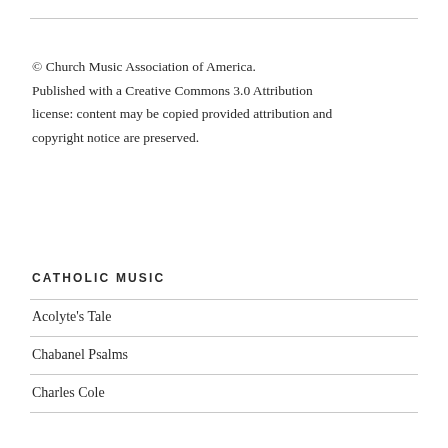© Church Music Association of America. Published with a Creative Commons 3.0 Attribution license: content may be copied provided attribution and copyright notice are preserved.
CATHOLIC MUSIC
Acolyte's Tale
Chabanel Psalms
Charles Cole